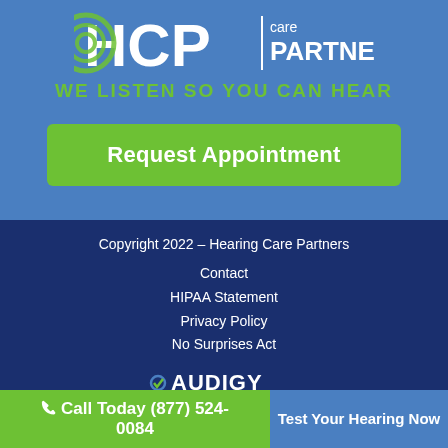[Figure (logo): HCP Hearing Care Partners logo with circular green wave icon and text]
WE LISTEN SO YOU CAN HEAR
Request Appointment
Copyright 2022 - Hearing Care Partners
Contact
HIPAA Statement
Privacy Policy
No Surprises Act
[Figure (logo): Audigy Certified logo in white text]
Call Today (877) 524-0084
Test Your Hearing Now